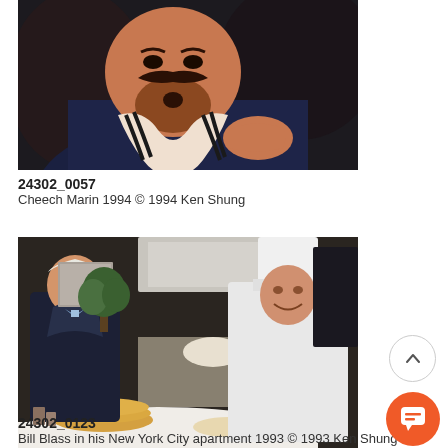[Figure (photo): Close-up photograph of Cheech Marin in 1994, wearing a dark jacket and striped scarf, with a mustache and goatee, photographed by Ken Shung]
24302_0057
Cheech Marin 1994 © 1994 Ken Shung
[Figure (photo): Photograph of Bill Blass in his New York City apartment, 1993, with a chef cooking in the kitchen, photographed by Ken Shung]
24302_0123
Bill Blass in his New York City apartment 1993 © 1993 Ken Shung